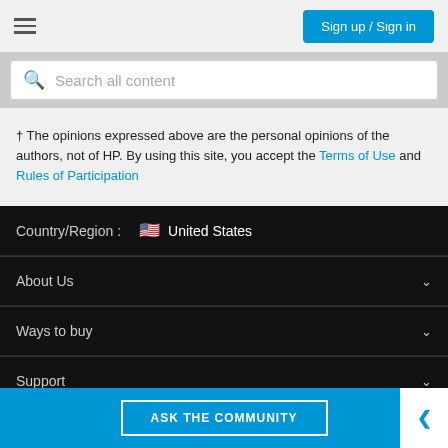Sign up / Sign in
Search all content
† The opinions expressed above are the personal opinions of the authors, not of HP. By using this site, you accept the Terms of Use and Rules of Participation
Country/Region : United States
About Us
Ways to buy
Support
ASK THE COMMUNITY